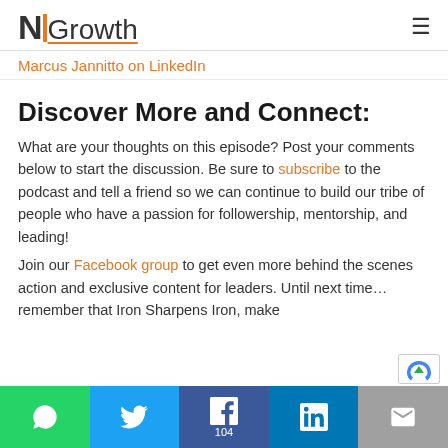NGrowth logo and navigation
Marcus Jannitto on LinkedIn
Discover More and Connect:
What are your thoughts on this episode? Post your comments below to start the discussion. Be sure to subscribe to the podcast and tell a friend so we can continue to build our tribe of people who have a passion for followership, mentorship, and leading!
Join our Facebook group to get even more behind the scenes action and exclusive content for leaders. Until next time…remember that Iron Sharpens Iron, make
WhatsApp | Twitter | Facebook 104 | LinkedIn | Email share bar